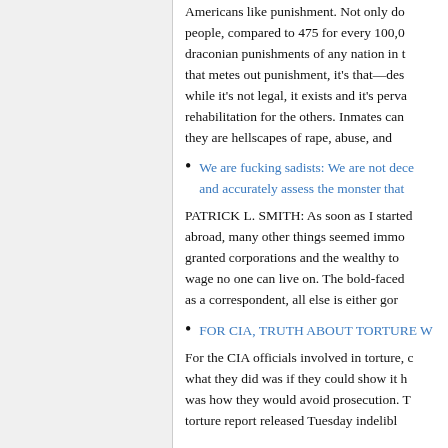Americans like punishment. Not only do people, compared to 475 for every 100,0 draconian punishments of any nation in t that metes out punishment, it's that—des while it's not legal, it exists and it's perva rehabilitation for the others. Inmates can they are hellscapes of rape, abuse, and
We are fucking sadists: We are not dece and accurately assess the monster that
PATRICK L. SMITH: As soon as I started abroad, many other things seemed immo granted corporations and the wealthy to wage no one can live on. The bold-faced as a correspondent, all else is either gor
FOR CIA, TRUTH ABOUT TORTURE W
For the CIA officials involved in torture, c what they did was if they could show it h was how they would avoid prosecution. T torture report released Tuesday indelibl